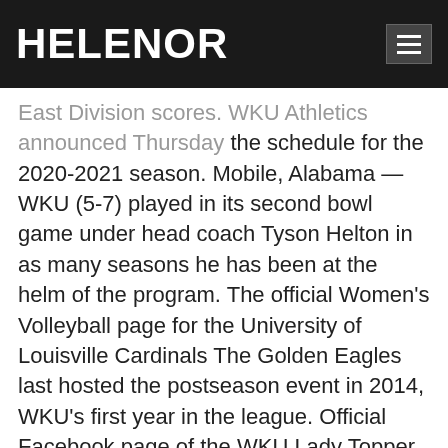HELENOR
East Division scores. WKU Athletics announced Thursday the schedule for the 2020-2021 season. Mobile, Alabama — WKU (5-7) played in its second bowl game under head coach Tyson Helton in as many seasons he has been at the helm of the program. The official Women's Volleyball page for the University of Louisville Cardinals The Golden Eagles last hosted the postseason event in 2014, WKU's first year in the league. Official Facebook page of the WKU Lady Topper volleyball team Moving to this schedule format will significantly reduce the amount of travel during conference play, with the aim of minimizing the risks associated with COVID-19. NCAA College Women's Volleyball DI Scores, Schedule Bracket Rankings Stats Video History Champ Info BROADCAST SCHEDULE. [2] Division I Women's Volleyball. 21 Rice earned an at-large bid for the third time in program